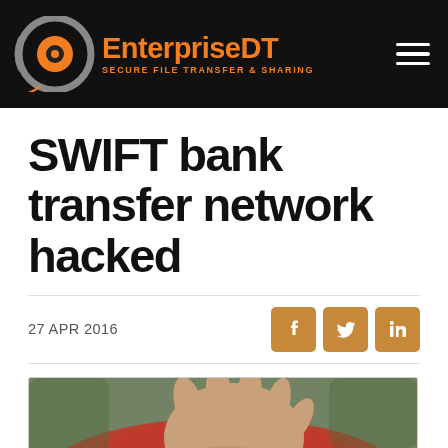EnterpriseDT — SECURE FILE TRANSFER & SHARING
SWIFT bank transfer network hacked
27 APR 2016
[Figure (photo): Close-up of a person's outstretched hand, wearing a red hoodie, with blurred outdoor background]